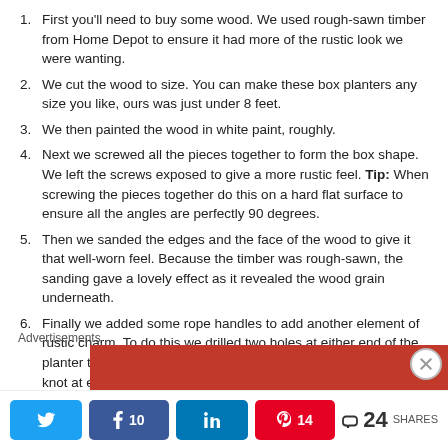First you'll need to buy some wood. We used rough-sawn timber from Home Depot to ensure it had more of the rustic look we were wanting.
We cut the wood to size. You can make these box planters any size you like, ours was just under 8 feet.
We then painted the wood in white paint, roughly.
Next we screwed all the pieces together to form the box shape. We left the screws exposed to give a more rustic feel. Tip: When screwing the pieces together do this on a hard flat surface to ensure all the angles are perfectly 90 degrees.
Then we sanded the edges and the face of the wood to give it that well-worn feel. Because the timber was rough-sawn, the sanding gave a lovely effect as it revealed the wood grain underneath.
Finally we added some rope handles to add another element of rustic charm. To do this we drilled two holes at either end of the planter then threaded some rope through the holes and tied a knot at each end to secure it in place.
Advertisements